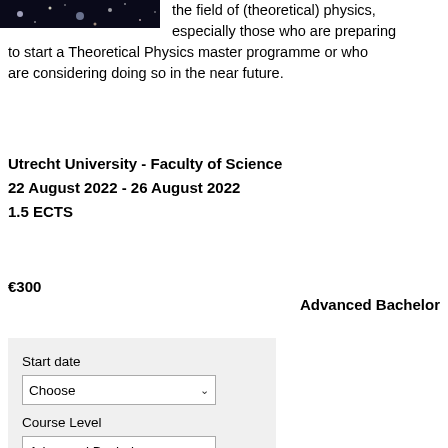[Figure (photo): Dark astronomy/space image thumbnail in top-left corner]
the field of (theoretical) physics, especially those who are preparing to start a Theoretical Physics master programme or who are considering doing so in the near future.
Utrecht University - Faculty of Science
22 August 2022 - 26 August 2022
1.5 ECTS
€300
Advanced Bachelor
Start date
Choose
Course Level
Advanced Bachelor
Locations